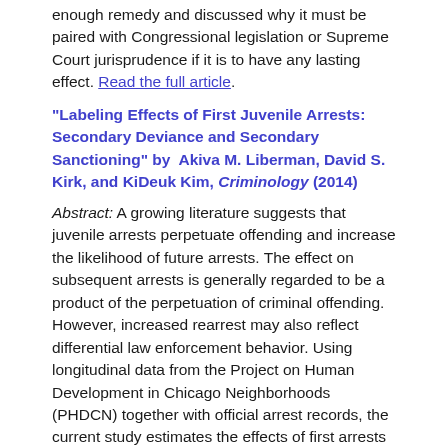enough remedy and discussed why it must be paired with Congressional legislation or Supreme Court jurisprudence if it is to have any lasting effect. Read the full article.
“Labeling Effects of First Juvenile Arrests: Secondary Deviance and Secondary Sanctioning” by Akiva M. Liberman, David S. Kirk, and KiDeuk Kim, Criminology (2014)
Abstract: A growing literature suggests that juvenile arrests perpetuate offending and increase the likelihood of future arrests. The effect on subsequent arrests is generally regarded to be a product of the perpetuation of criminal offending. However, increased rearrest may also reflect differential law enforcement behavior. Using longitudinal data from the Project on Human Development in Chicago Neighborhoods (PHDCN) together with official arrest records, the current study estimates the effects of first arrests on both reoffending and rearrest. Propensity score methods were used to